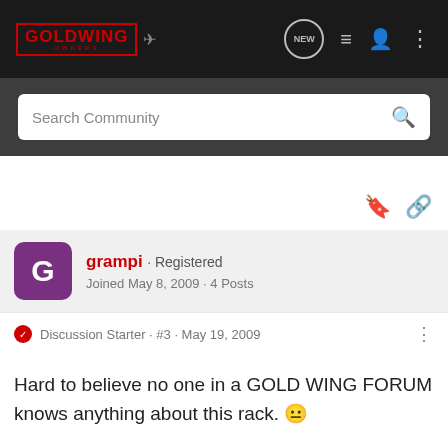GOLDWING OWNERS — navigation bar with search
grampi · Registered
Joined May 8, 2009 · 4 Posts
Discussion Starter · #3 · May 19, 2009
Hard to believe no one in a GOLD WING FORUM knows anything about this rack. 😐